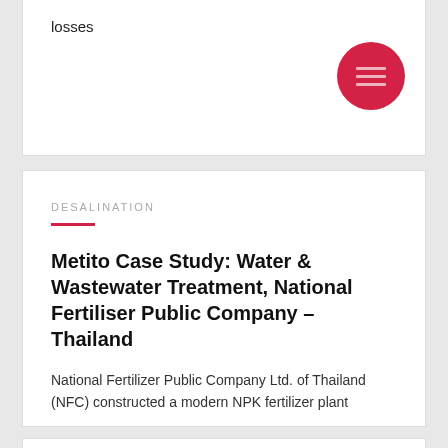losses
DESALINATION
Metito Case Study: Water & Wastewater Treatment, National Fertiliser Public Company – Thailand
National Fertilizer Public Company Ltd. of Thailand (NFC) constructed a modern NPK fertilizer plant